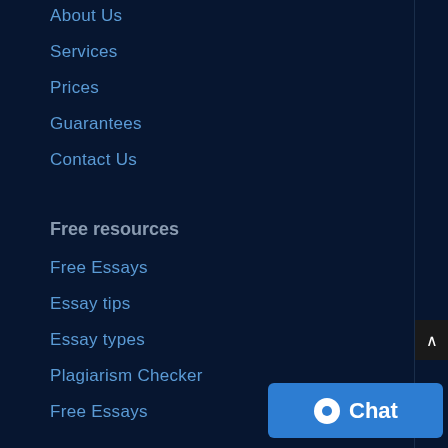About Us
Services
Prices
Guarantees
Contact Us
Free resources
Free Essays
Essay tips
Essay types
Plagiarism Checker
Free Essays
Dissertation help
Free consultation